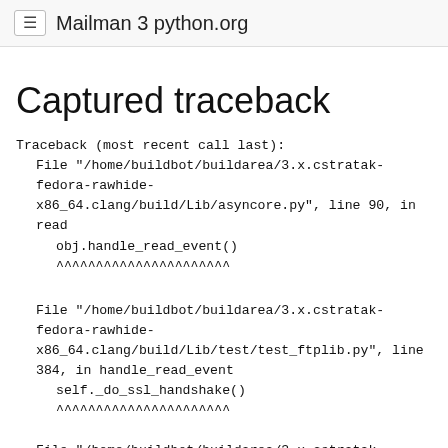≡ Mailman 3 python.org
Captured traceback
Traceback (most recent call last):
  File "/home/buildbot/buildarea/3.x.cstratak-fedora-rawhide-x86_64.clang/build/Lib/asyncore.py", line 90, in read
    obj.handle_read_event()
    ^^^^^^^^^^^^^^^^^^^^^^
  File "/home/buildbot/buildarea/3.x.cstratak-fedora-rawhide-x86_64.clang/build/Lib/test/test_ftplib.py", line 384, in handle_read_event
    self._do_ssl_handshake()
    ^^^^^^^^^^^^^^^^^^^^^^
  File "/home/buildbot/buildarea/3.x.cstratak-fedora-rawhide-x86_64.clang/build/Lib/test/test_ftplib.py", line 345, in _do_ssl_handshake
    self.socket.do_handshake()
    ^^^^^^^^^^^^^^^^^^^^^^
  File "/home/buildbot/buildarea/3.x.cstratak-fedora-rawhide-